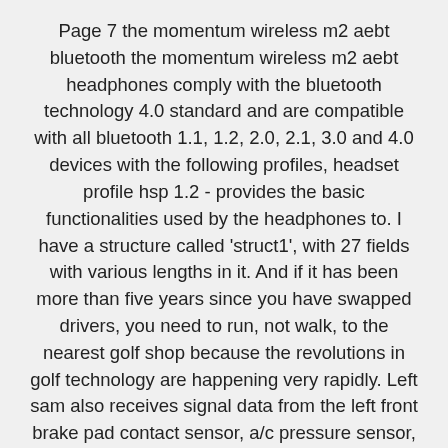Page 7 the momentum wireless m2 aebt bluetooth the momentum wireless m2 aebt headphones comply with the bluetooth technology 4.0 standard and are compatible with all bluetooth 1.1, 1.2, 2.0, 2.1, 3.0 and 4.0 devices with the following profiles, headset profile hsp 1.2 - provides the basic functionalities used by the headphones to. I have a structure called 'struct1', with 27 fields with various lengths in it. And if it has been more than five years since you have swapped drivers, you need to run, not walk, to the nearest golf shop because the revolutions in golf technology are happening very rapidly. Left sam also receives signal data from the left front brake pad contact sensor, a/c pressure sensor, refrigerant temperature sensor, brake fluid indicator, outside temperature sensor and parking brake indicator switch. The m2 machine gun or browning.50 caliber machine gun is a heavy machine gun designed toward the end of world war i by john design is similar to browning's earlier m1919 browning.